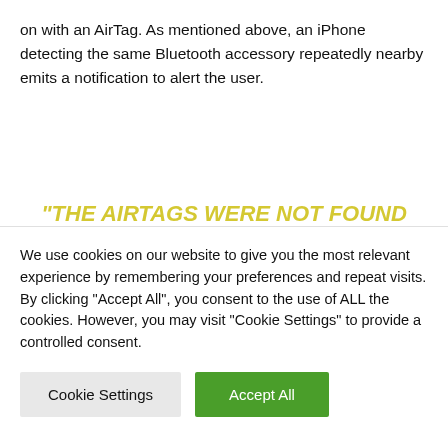on with an AirTag. As mentioned above, an iPhone detecting the same Bluetooth accessory repeatedly nearby emits a notification to alert the user.
"THE AIRTAGS WERE NOT FOUND BY CHANCE. IT IS ALSO APPLE'S SPYING PREVENTION MEASURES THAT WORK AND THAT LEAD SOME OF THE PEOPLE AFFECTED TO REPORT TO THE
We use cookies on our website to give you the most relevant experience by remembering your preferences and repeat visits. By clicking "Accept All", you consent to the use of ALL the cookies. However, you may visit "Cookie Settings" to provide a controlled consent.